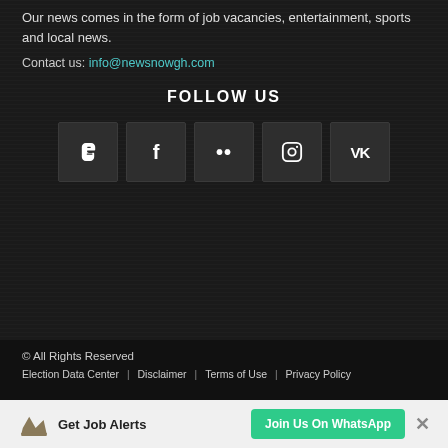Our news comes in the form of job vacancies, entertainment, sports and local news.
Contact us: info@newsnowgh.com
FOLLOW US
[Figure (other): Five social media icon buttons in dark square boxes: Blogger (B), Facebook (f), Flickr (..), Instagram (camera icon), VK (VK)]
© All Rights Reserved
Election Data Center | Disclaimer | Terms of Use | Privacy Policy
Get Job Alerts  Join Us On WhatsApp  ×